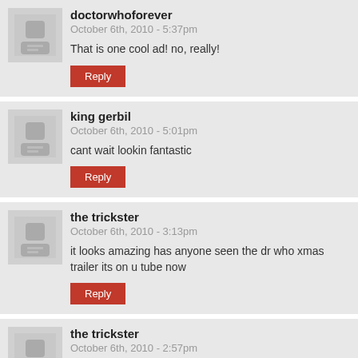doctorwhoforever
October 6th, 2010 - 5:37pm
That is one cool ad! no, really!
Reply
king gerbil
October 6th, 2010 - 5:01pm
cant wait lookin fantastic
Reply
the trickster
October 6th, 2010 - 3:13pm
it looks amazing has anyone seen the dr who xmas trailer its on u tube now
Reply
the trickster
October 6th, 2010 - 2:57pm